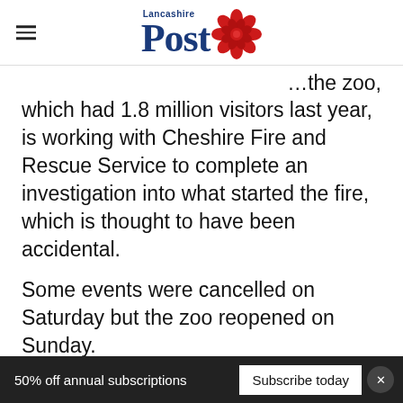Lancashire Post
which had 1.8 million visitors last year, is working with Cheshire Fire and Rescue Service to complete an investigation into what started the fire, which is thought to have been accidental.
Some events were cancelled on Saturday but the zoo reopened on Sunday.
[Figure (other): Homesense advertisement banner: 'Here, unique is everyday. Homesense']
It is home to around 21,000 animals, with all th...
50% off annual subscriptions  Subscribe today